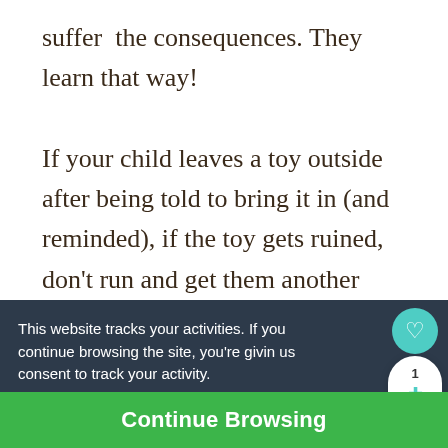suffer the consequences. They learn that way!

If your child leaves a toy outside after being told to bring it in (and reminded), if the toy gets ruined, don't run and get them another
This website tracks your activities. If you continue browsing the site, you're giving us consent to track your activity.
Continue Browsing
WHAT'S NEXT → What to Do When Your...